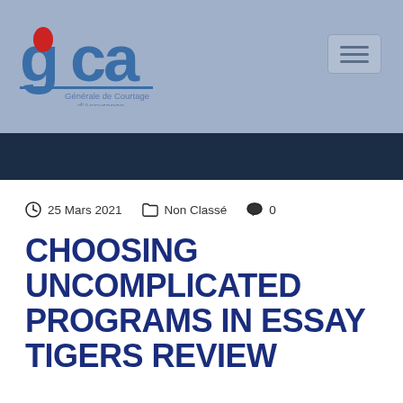[Figure (logo): GCA - Générale de Courtage d'Assurance logo with red oval and blue lettering]
25 Mars 2021   Non Classé   0
CHOOSING UNCOMPLICATED PROGRAMS IN ESSAY TIGERS REVIEW